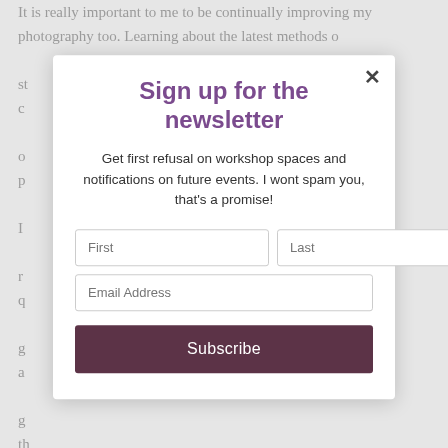It is really important to me to be continually improving my photography too. Learning about the latest methods o... ...st c... ...o p... I... ...r q... ...g a... ...g th... ...n r... ...h p... I... ...y a... ...if y... C... ...h c... ...of my awarded images with you.
Sign up for the newsletter
Get first refusal on workshop spaces and notifications on future events. I wont spam you, that's a promise!